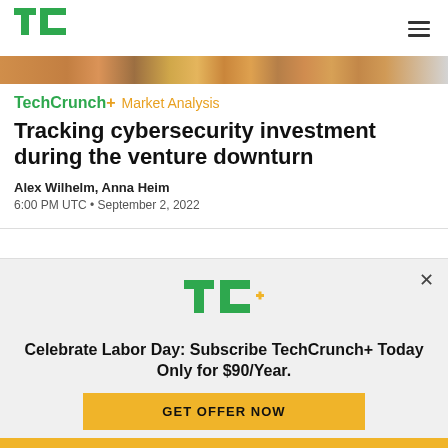TechCrunch logo and navigation
[Figure (photo): Partial image strip showing cybersecurity or finance themed images]
TechCrunch+ Market Analysis
Tracking cybersecurity investment during the venture downturn
Alex Wilhelm, Anna Heim
6:00 PM UTC • September 2, 2022
[Figure (logo): TC+ logo in promotional modal]
Celebrate Labor Day: Subscribe TechCrunch+ Today Only for $90/Year.
GET OFFER NOW